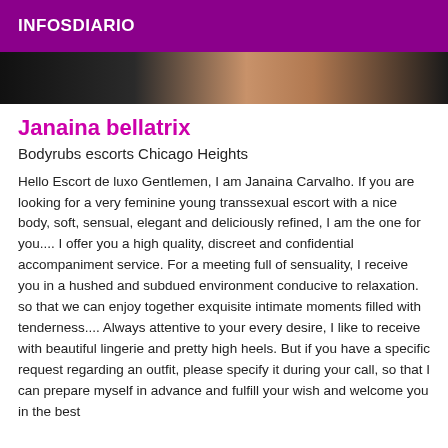INFOSDIARIO
[Figure (photo): Partial photo of a person, dark background with skin tones visible]
Janaina bellatrix
Bodyrubs escorts Chicago Heights
Hello Escort de luxo Gentlemen, I am Janaina Carvalho. If you are looking for a very feminine young transsexual escort with a nice body, soft, sensual, elegant and deliciously refined, I am the one for you.... I offer you a high quality, discreet and confidential accompaniment service. For a meeting full of sensuality, I receive you in a hushed and subdued environment conducive to relaxation. so that we can enjoy together exquisite intimate moments filled with tenderness.... Always attentive to your every desire, I like to receive with beautiful lingerie and pretty high heels. But if you have a specific request regarding an outfit, please specify it during your call, so that I can prepare myself in advance and fulfill your wish and welcome you in the best